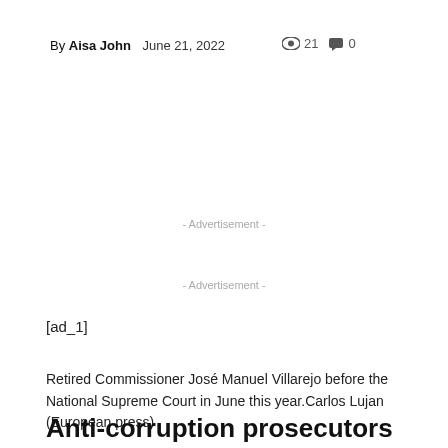By Aisa John   June 21, 2022   👁 21   💬 0
- Advertisement -
- Advertisement -
[ad_1]
Retired Commissioner José Manuel Villarejo before the National Supreme Court in June this year.Carlos Lujan (European press)
Anti-corruption prosecutors have reduced